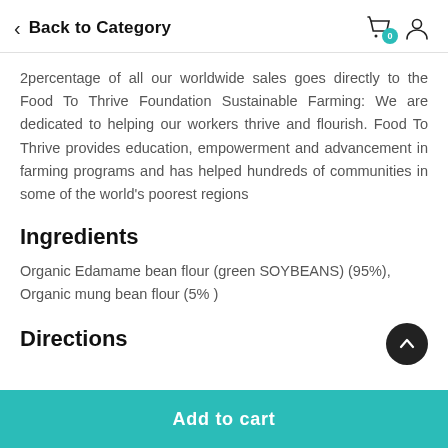Back to Category
2percentage of all our worldwide sales goes directly to the Food To Thrive Foundation Sustainable Farming: We are dedicated to helping our workers thrive and flourish. Food To Thrive provides education, empowerment and advancement in farming programs and has helped hundreds of communities in some of the world's poorest regions
Ingredients
Organic Edamame bean flour (green SOYBEANS) (95%), Organic mung bean flour (5% )
Directions
Add to cart